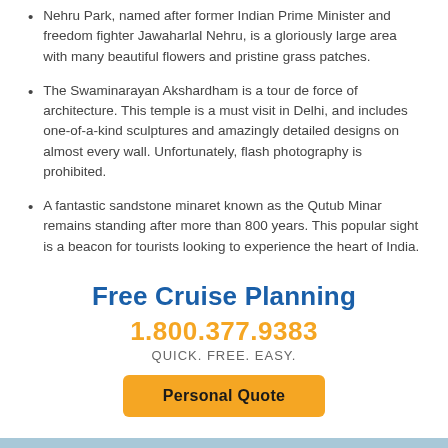Nehru Park, named after former Indian Prime Minister and freedom fighter Jawaharlal Nehru, is a gloriously large area with many beautiful flowers and pristine grass patches.
The Swaminarayan Akshardham is a tour de force of architecture. This temple is a must visit in Delhi, and includes one-of-a-kind sculptures and amazingly detailed designs on almost every wall. Unfortunately, flash photography is prohibited.
A fantastic sandstone minaret known as the Qutub Minar remains standing after more than 800 years. This popular sight is a beacon for tourists looking to experience the heart of India.
Free Cruise Planning
1.800.377.9383
QUICK. FREE. EASY.
Personal Quote